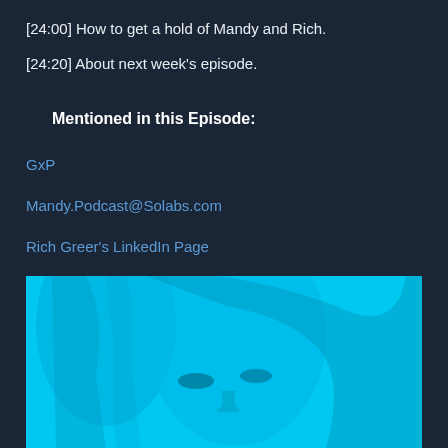[24:00] How to get a hold of Mandy and Rich.
[24:20] About next week's episode.
Mentioned in this Episode:
GxP
Mandy.Podcast@Solabs.com
Rich Greer's LinkedIn Page
[Figure (photo): Cyan-tinted photo of a woman's face, partially visible, showing eyes and hair against a light blue background.]